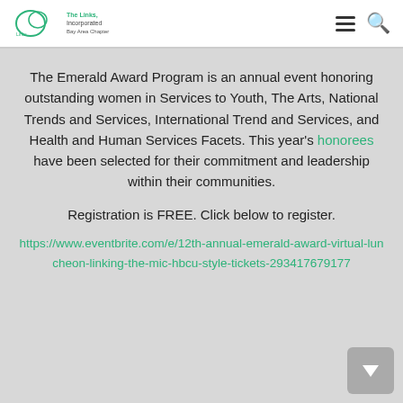The Links, Incorporated — Bay Area Chapter logo with navigation icons
The Emerald Award Program is an annual event honoring outstanding women in Services to Youth, The Arts, National Trends and Services, International Trend and Services, and Health and Human Services Facets. This year's honorees have been selected for their commitment and leadership within their communities.
Registration is FREE. Click below to register.
https://www.eventbrite.com/e/12th-annual-emerald-award-virtual-luncheon-linking-the-mic-hbcu-style-tickets-293417679177